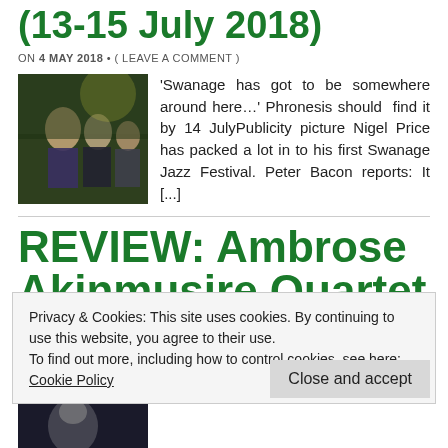(13-15 July 2018)
ON 4 MAY 2018 • ( LEAVE A COMMENT )
[Figure (photo): Group photo of three musicians in a forest/outdoor setting]
'Swanage has got to be somewhere around here…' Phronesis should find it by 14 JulyPublicity picture Nigel Price has packed a lot in to his first Swanage Jazz Festival. Peter Bacon reports: It [...]
REVIEW: Ambrose Akinmusire Quartet at
Privacy & Cookies: This site uses cookies. By continuing to use this website, you agree to their use.
To find out more, including how to control cookies, see here: Cookie Policy
Close and accept
[Figure (photo): Partial photo at bottom left, appears to be a musician]